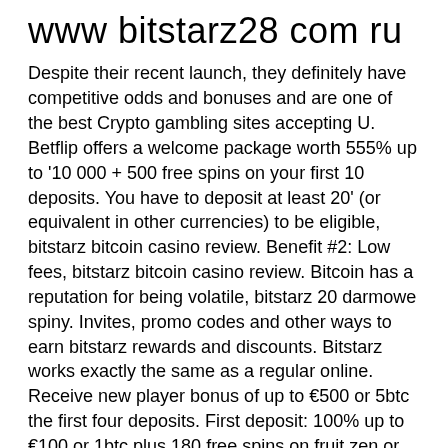www bitstarz28 com ru
Despite their recent launch, they definitely have competitive odds and bonuses and are one of the best Crypto gambling sites accepting U. Betflip offers a welcome package worth 555% up to '10 000 + 500 free spins on your first 10 deposits. You have to deposit at least 20' (or equivalent in other currencies) to be eligible, bitstarz bitcoin casino review. Benefit #2: Low fees, bitstarz bitcoin casino review. Bitcoin has a reputation for being volatile, bitstarz 20 darmowe spiny. Invites, promo codes and other ways to earn bitstarz rewards and discounts. Bitstarz works exactly the same as a regular online. Receive new player bonus of up to €500 or 5btc the first four deposits. First deposit: 100% up to €100 or 1btc plus 180 free spins on fruit zen or boomanji or. Bitstarz casino no deposit bonus codes ✓ validated on 08 april, 2022 ✓